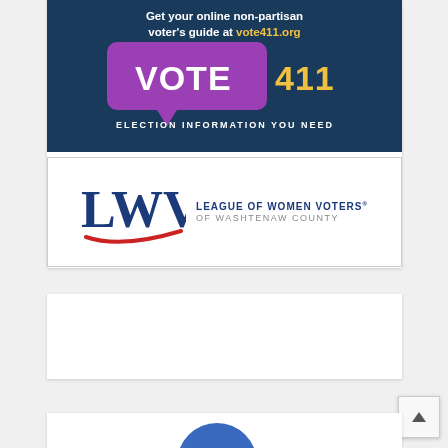[Figure (logo): VOTE411 advertisement banner: dark navy background with text 'Get your online non-partisan voter's guide at vote411.org' in white and gold, with a large purple speech bubble containing 'VOTE 411' in white, and tagline 'ELECTION INFORMATION YOU NEED']
[Figure (logo): League of Women Voters of Washtenaw County logo: LWV letters in bold dark blue with a red swoosh underline, beside text 'LEAGUE OF WOMEN VOTERS OF WASHTENAW COUNTY']
[Figure (other): Empty white card area (placeholder)]
[Figure (other): Partial bottom card with partial blue circle visible at bottom of page]